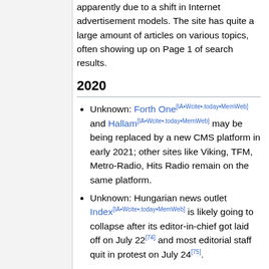apparently due to a shift in Internet advertisement models. The site has quite a large amount of articles on various topics, often showing up on Page 1 of search results.
2020
Unknown: Forth One[IA•Wcite•.today•MemWeb] and Hallam[IA•Wcite•.today•MemWeb] may be being replaced by a new CMS platform in early 2021; other sites like Viking, TFM, Metro-Radio, Hits Radio remain on the same platform.
Unknown: Hungarian news outlet Index[IA•Wcite•.today•MemWeb] is likely going to collapse after its editor-in-chief got laid off on July 22[74] and most editorial staff quit in protest on July 24[75].